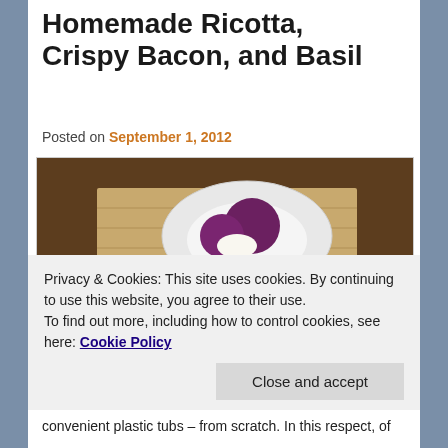Homemade Ricotta, Crispy Bacon, and Basil
Posted on September 1, 2012
[Figure (photo): Photo of roasted beets with homemade ricotta, crispy bacon, and basil served on white plates on a bamboo mat, with forks visible on the left side.]
Privacy & Cookies: This site uses cookies. By continuing to use this website, you agree to their use.
To find out more, including how to control cookies, see here: Cookie Policy
convenient plastic tubs – from scratch. In this respect, of